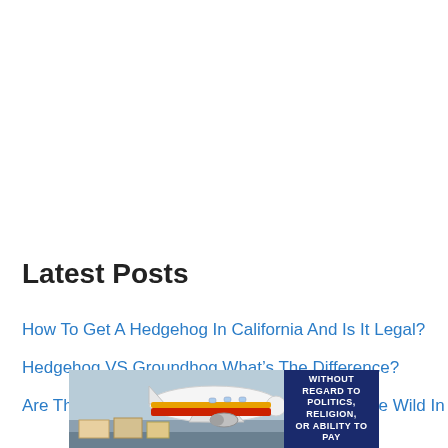Latest Posts
How To Get A Hedgehog In California And Is It Legal?
Hedgehog VS Groundhog What's The Difference?
Are There Hedgehogs In America Can They Live Wild In
[Figure (photo): Advertisement banner showing an airplane being loaded with cargo (Southwest Airlines livery), with a dark blue section on the right reading 'WITHOUT REGARD TO POLITICS, RELIGION, OR ABILITY TO PAY']